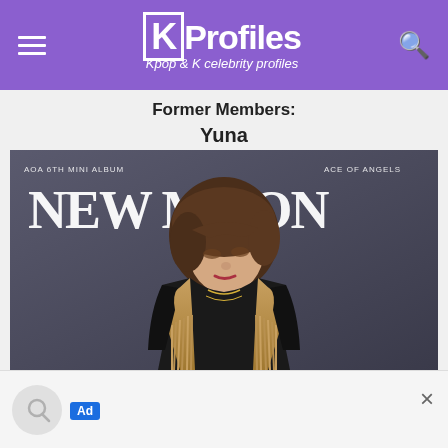KProfiles — Kpop & K celebrity profiles
Former Members:
Yuna
[Figure (photo): Yuna from AOA on the cover of AOA 6th Mini Album 'NEW MOON' by Ace of Angels. She is wearing a black outfit with a tan fringe vest and gold necklaces, posed against a dark grey background.]
Ad